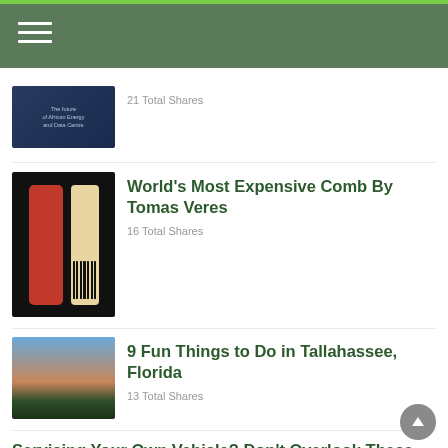Navigation header with hamburger menu
21 Total Shares
World's Most Expensive Comb By Tomas Veres
16 Total Shares
9 Fun Things to Do in Tallahassee, Florida
13 Total Shares
Servicing Your Own Vehicle? Don't Overlook These Maintenance Practices
13 Total Shares